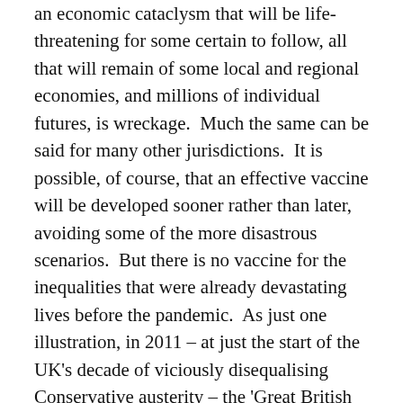an economic cataclysm that will be life-threatening for some certain to follow, all that will remain of some local and regional economies, and millions of individual futures, is wreckage.  Much the same can be said for many other jurisdictions.  It is possible, of course, that an effective vaccine will be developed sooner rather than later, avoiding some of the more disastrous scenarios.  But there is no vaccine for the inequalities that were already devastating lives before the pandemic.  As just one illustration, in 2011 – at just the start of the UK's decade of viciously disequalising Conservative austerity – the 'Great British Class Survey' found that one-third of British households, supported by low-wage or precarious employment, had an average of just under £1,000 in savings.
Even in the best possible post-pandemic world, inequalities that have been further magnified will